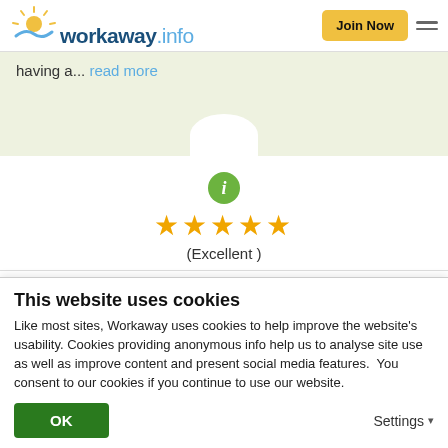workaway.info | Join Now
having a... read more
[Figure (illustration): User avatar bump at bottom of green banner]
[Figure (illustration): Green info icon circle with letter i]
[Figure (illustration): Five gold stars rating]
(Excellent )
19/02/2018
This website uses cookies
Like most sites, Workaway uses cookies to help improve the website's usability. Cookies providing anonymous info help us to analyse site use as well as improve content and present social media features.  You consent to our cookies if you continue to use our website.
OK
Settings